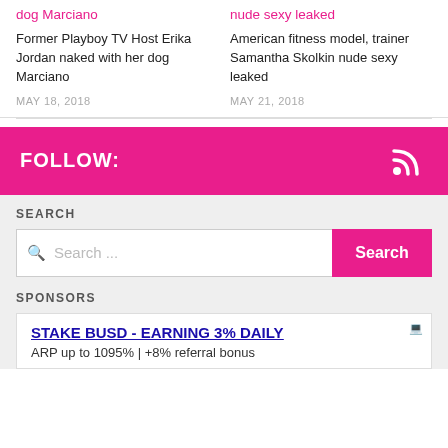dog Marciano
nude sexy leaked
Former Playboy TV Host Erika Jordan naked with her dog Marciano
American fitness model, trainer Samantha Skolkin nude sexy leaked
MAY 18, 2018
MAY 21, 2018
FOLLOW:
SEARCH
Search ...
SPONSORS
STAKE BUSD - EARNING 3% DAILY
ARP up to 1095% | +8% referral bonus